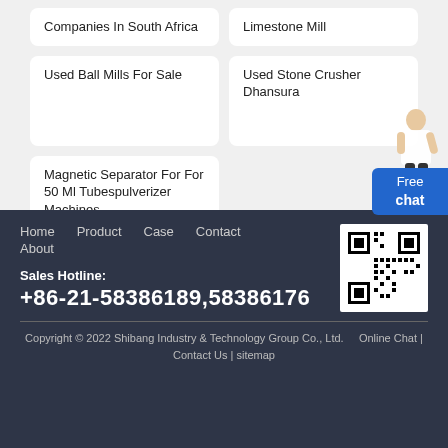Companies In South Africa
Limestone Mill
Used Ball Mills For Sale
Used Stone Crusher Dhansura
Magnetic Separator For For 50 Ml Tubespulverizer Machines
Free chat
Home   Product   Case   Contact   About
Sales Hotline: +86-21-58386189,58386176
Copyright © 2022 Shibang Industry & Technology Group Co., Ltd.   Online Chat | Contact Us | sitemap